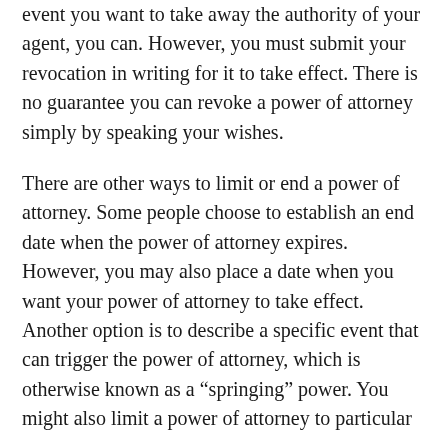event you want to take away the authority of your agent, you can. However, you must submit your revocation in writing for it to take effect. There is no guarantee you can revoke a power of attorney simply by speaking your wishes.
There are other ways to limit or end a power of attorney. Some people choose to establish an end date when the power of attorney expires. However, you may also place a date when you want your power of attorney to take effect. Another option is to describe a specific event that can trigger the power of attorney, which is otherwise known as a “springing” power. You might also limit a power of attorney to particular